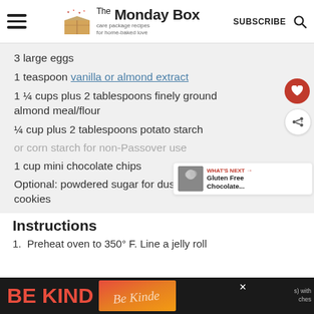The Monday Box — care package recipes for home-baked love — SUBSCRIBE
3 large eggs
1 teaspoon vanilla or almond extract
1 ¼ cups plus 2 tablespoons finely ground almond meal/flour
¼ cup plus 2 tablespoons potato starch
or corn starch for non-Passover use
1 cup mini chocolate chips
Optional: powdered sugar for dusting tops of cookies
Instructions
1. Preheat oven to 350° F. Line a jelly roll